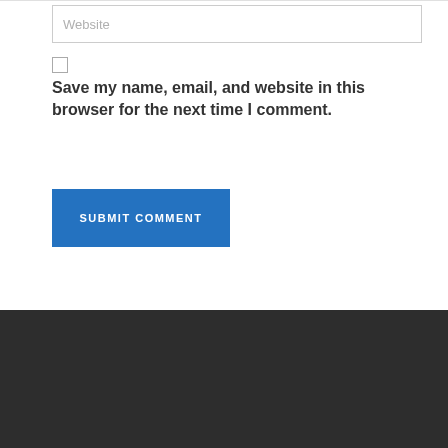Website
Save my name, email, and website in this browser for the next time I comment.
SUBMIT COMMENT
This website uses cookies to improve your experience. By continuing to use this site or by clicking ACCEPT, you are giving your consent for us to set cookies.